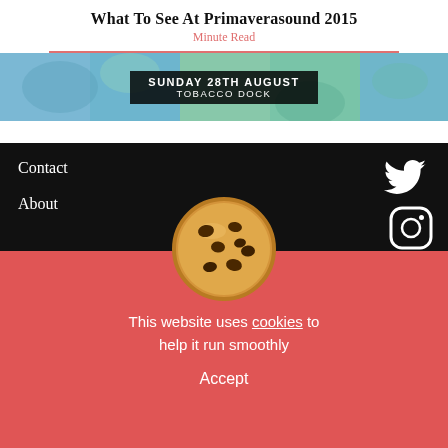What To See At Primaverasound 2015
Minute Read
[Figure (photo): Banner image with text overlay: SUNDAY 28TH AUGUST / TOBACCO DOCK]
Contact
About
[Figure (illustration): Twitter bird icon (white) in black footer]
[Figure (illustration): Instagram icon (white outline) in black footer]
[Figure (illustration): Chocolate chip cookie image centered over red section]
This website uses cookies to help it run smoothly
Accept